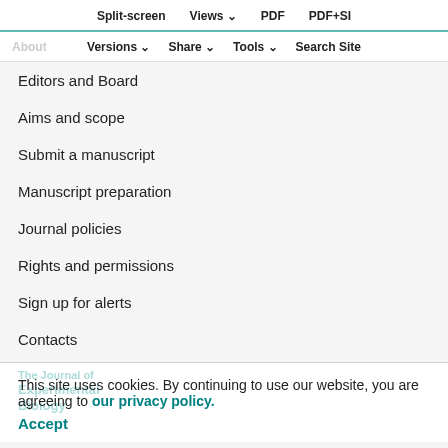Split-screen   Views   PDF   PDF+SI
About   Versions   Share   Tools   Search Site
Editors and Board
Aims and scope
Submit a manuscript
Manuscript preparation
Journal policies
Rights and permissions
Sign up for alerts
Contacts
This site uses cookies. By continuing to use our website, you are agreeing to our privacy policy. Accept